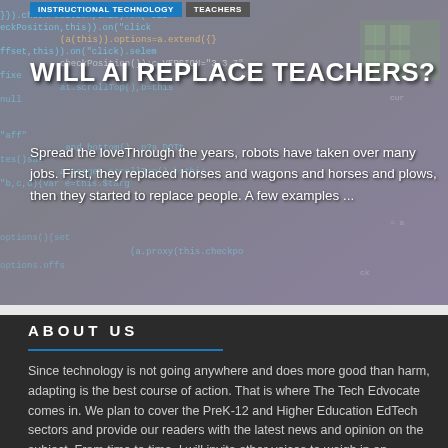[Figure (screenshot): Hero image with dark code/circuit board background showing programming code text. Navigation tabs for INSTRUCTIONAL TECHNOLOGY and TEACHERS visible at top.]
WILL AI REPLACE TEACHERS?
Spread the loveThrough the years, robots have taken over many jobs. First, they replaced horses and wagons and horses and plows, then they started to replace people. A few examples ...
ABOUT US
Since technology is not going anywhere and does more good than harm, adapting is the best course of action. That is where The Tech Edvocate comes in. We plan to cover the PreK-12 and Higher Education EdTech sectors and provide our readers with the latest news and opinion on the subject. From time to time, I will invite other voices to weigh in on important issues in EdTech. We hope to provide a well-rounded, multi-faceted look at the past, present, the future of